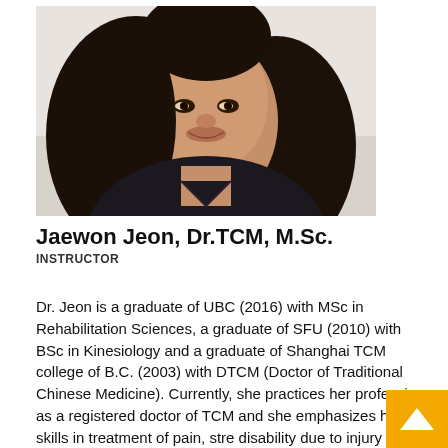[Figure (photo): Headshot photo of Jaewon Jeon, a woman with long dark hair, smiling, wearing a dark top, against a light background.]
Jaewon Jeon, Dr.TCM, M.Sc.
INSTRUCTOR
Dr. Jeon is a graduate of UBC (2016) with MSc in Rehabilitation Sciences, a graduate of SFU (2010) with BSc in Kinesiology and a graduate of Shanghai TCM college of B.C. (2003) with DTCM (Doctor of Traditional Chinese Medicine). Currently, she practices her profession as a registered doctor of TCM and she emphasizes her skills in treatment of pain, stress, disability due to injury or chronic illness. In her